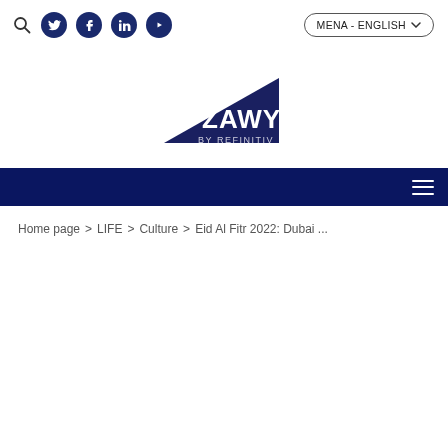ZAWYA BY REFINITIV — MENA - ENGLISH
[Figure (logo): Zawya by Refinitiv logo — dark navy blue triangle shape with ZAWYA text and BY REFINITIV subtitle]
Home page > LIFE > Culture > Eid Al Fitr 2022: Dubai ...